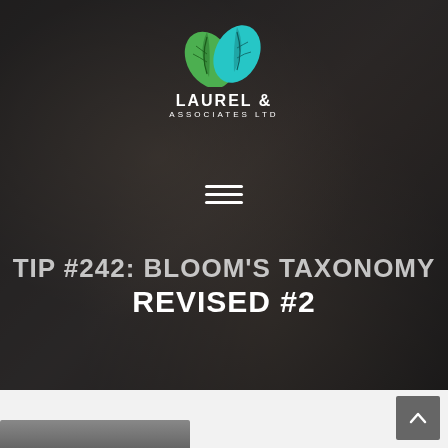[Figure (photo): Background photo of professionals in a meeting/learning setting, dark-overlaid. Shows a blonde woman in foreground and other people around a table with documents.]
TIP #242: BLOOM'S TAXONOMY REVISED #2
[Figure (logo): Laurel & Associates Ltd logo: two green/teal leaves above text 'LAUREL & ASSOCIATES LTD']
[Figure (illustration): Hamburger menu icon (three horizontal white lines)]
[Figure (photo): Thumbnail strip at bottom left showing partial image of people]
[Figure (other): Back-to-top button: grey square with white upward chevron arrow, bottom right corner]